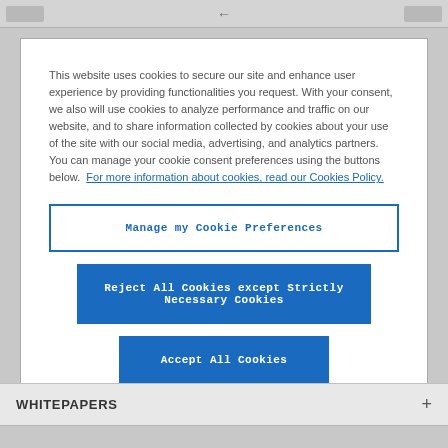This website uses cookies to secure our site and enhance user experience by providing functionalities you request. With your consent, we also will use cookies to analyze performance and traffic on our website, and to share information collected by cookies about your use of the site with our social media, advertising, and analytics partners. You can manage your cookie consent preferences using the buttons below. For more information about cookies, read our Cookies Policy.
Manage my Cookie Preferences
Reject All Cookies except Strictly Necessary Cookies
Accept All Cookies
WHITEPAPERS